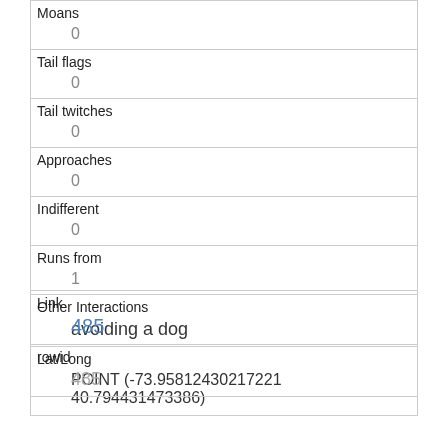| Moans | 0 |
| Tail flags | 0 |
| Tail twitches | 0 |
| Approaches | 0 |
| Indifferent | 0 |
| Runs from | 1 |
| Other Interactions | avoiding a dog |
| Lat/Long | POINT (-73.95812430217221 40.794431473386) |
| Link | 485 |
| rowid | 485 |